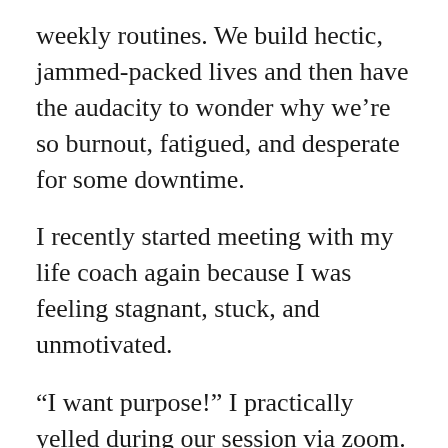weekly routines. We build hectic, jammed-packed lives and then have the audacity to wonder why we're so burnout, fatigued, and desperate for some downtime.
I recently started meeting with my life coach again because I was feeling stagnant, stuck, and unmotivated.
“I want purpose!” I practically yelled during our session via zoom.
So she did what she does best and started asking thought-provoking questions like what do I enjoy? What am I good at? What can I get into a flow doing? What does my ideal day